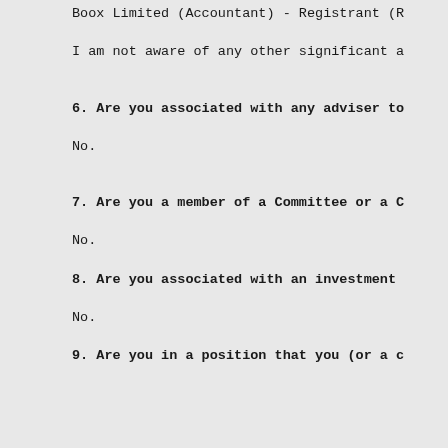Boox Limited (Accountant) - Registrant (R...
I am not aware of any other significant a...
6. Are you associated with any adviser to...
No.
7. Are you a member of a Committee or a C...
No.
8. Are you associated with an investment...
No.
9. Are you in a position that you (or a c...